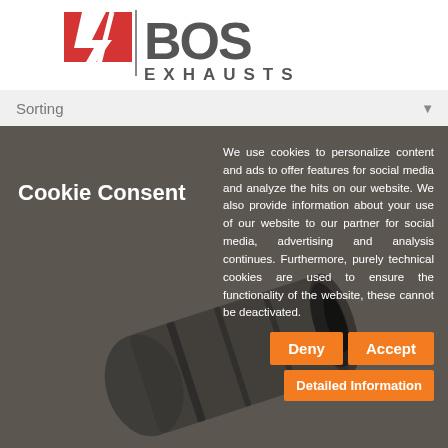[Figure (logo): BOS Exhausts logo with red lightning bolt and checkmark, text EXHAUSTS below]
Sorting
Cookie Consent
We use cookies to personalize content and ads to offer features for social media and analyze the hits on our website. We also provide information about your use of our website to our partner for social media, advertising and analysis continues. Furthermore, purely technical cookies are used to ensure the functionality of the website, these cannot be deactivated.
Deny
Accept
Detailed Information
0 Product